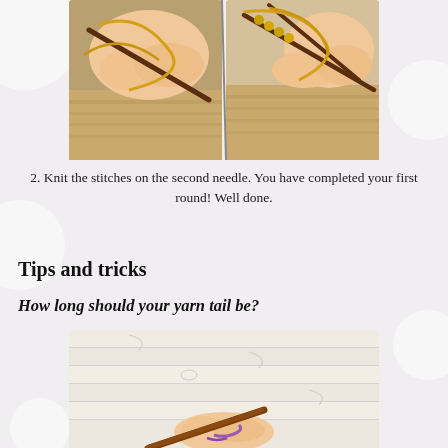[Figure (photo): Two side-by-side photos showing hands knitting with brown/gold needles and yellow yarn on a wooden surface]
2. Knit the stitches on the second needle. You have completed your first round! Well done.
Tips and tricks
How long should your yarn tail be?
[Figure (photo): Photo of a hand holding a wooden knitting needle with purple yarn on a white wooden surface]